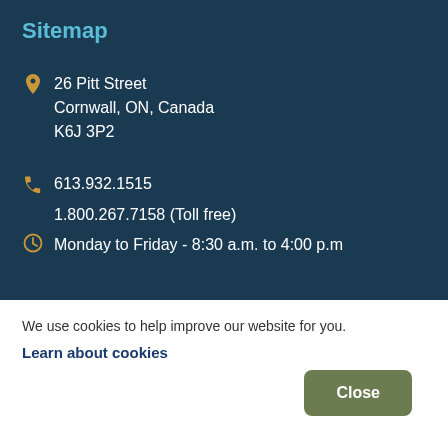Sitemap
26 Pitt Street
Cornwall, ON, Canada
K6J 3P2
613.932.1515
1.800.267.7158 (Toll free)
Monday to Friday - 8:30 a.m. to 4:00 p.m
We use cookies to help improve our website for you.
Learn about cookies
Close